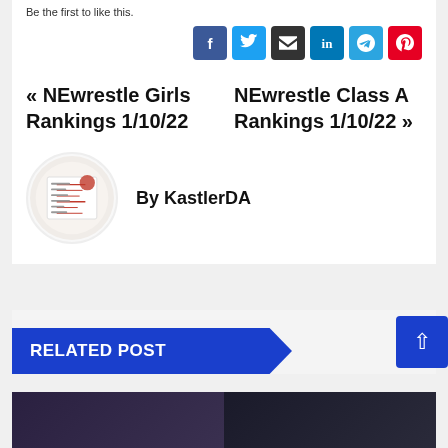Be the first to like this.
[Figure (infographic): Social sharing icons: Facebook (blue), Twitter (light blue), Email (dark), LinkedIn (blue), Telegram (blue), Pinterest (red)]
« NEwrestle Girls Rankings 1/10/22  NEwrestle Class A Rankings 1/10/22 »
[Figure (photo): Circular avatar image showing a handwritten bracket or ranking sheet with red markings]
By KastlerDA
RELATED POST
[Figure (photo): Two thumbnail images at the bottom of the page, dark background]